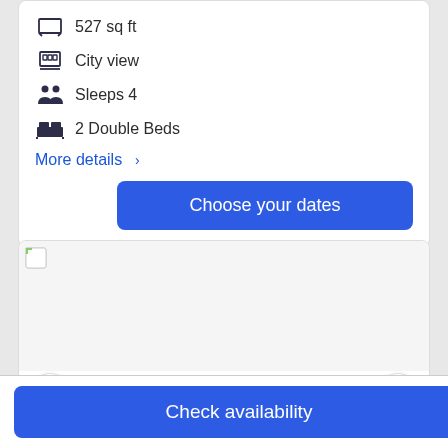527 sq ft
City view
Sleeps 4
2 Double Beds
More details >
Choose your dates
[Figure (photo): Hotel room image carousel with previous and next navigation buttons]
Check availability